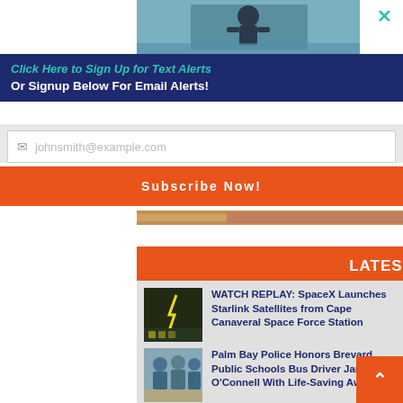[Figure (photo): Partial view of a person near water/boat, top portion of image]
×
Click Here to Sign Up for Text Alerts
Or Signup Below For Email Alerts!
johnsmith@example.com
Subscribe Now!
[Figure (photo): Advertisement banner strip]
LATEST NEWS
WATCH REPLAY: SpaceX Launches Starlink Satellites from Cape Canaveral Space Force Station
Palm Bay Police Honors Brevard Public Schools Bus Driver Janet O'Connell With Life-Saving Award
Rich Salick's Spirit and Legacy of